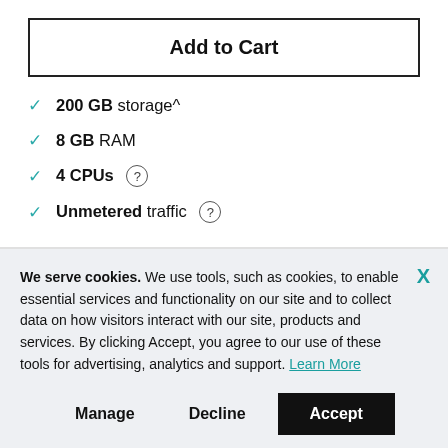Add to Cart
200 GB storage^
8 GB RAM
4 CPUs
Unmetered traffic
We serve cookies. We use tools, such as cookies, to enable essential services and functionality on our site and to collect data on how visitors interact with our site, products and services. By clicking Accept, you agree to our use of these tools for advertising, analytics and support. Learn More
Manage
Decline
Accept